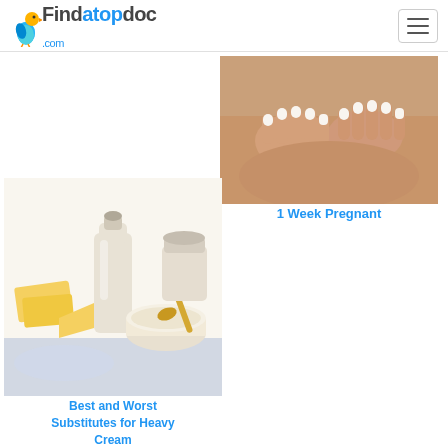Findatopdoc.com
[Figure (photo): Hands with white manicured nails placed on a belly]
1 Week Pregnant
[Figure (photo): Dairy products including milk bottle, butter, and powdered milk on a white background]
Best and Worst Substitutes for Heavy Cream